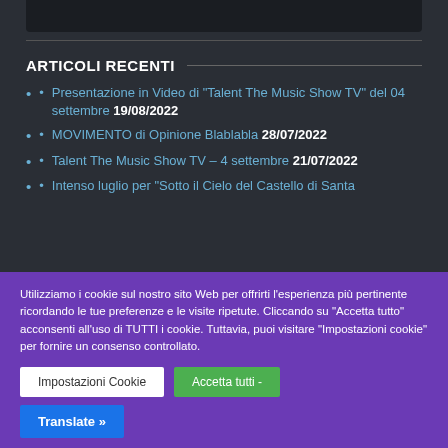[Figure (screenshot): Dark video/media bar at the top of the page]
ARTICOLI RECENTI
Presentazione in Video di "Talent The Music Show TV" del 04 settembre 19/08/2022
MOVIMENTO di Opinione Blablabla 28/07/2022
Talent The Music Show TV – 4 settembre 21/07/2022
Intenso luglio per "Sotto il Cielo del Castello di Santa
Utilizziamo i cookie sul nostro sito Web per offrirti l'esperienza più pertinente ricordando le tue preferenze e le visite ripetute. Cliccando su "Accetta tutto" acconsenti all'uso di TUTTI i cookie. Tuttavia, puoi visitare "Impostazioni cookie" per fornire un consenso controllato.
Impostazioni Cookie | Accetta tutti - | Translate »